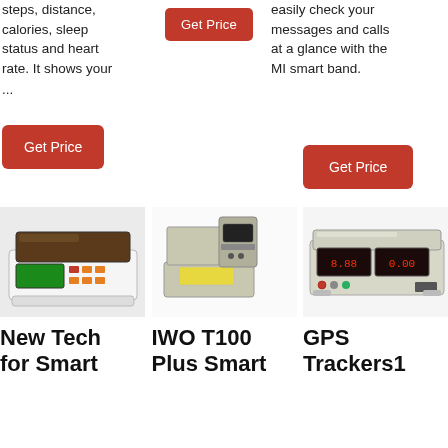steps, distance, calories, sleep status and heart rate. It shows your
...
easily check your messages and calls at a glance with the MI smart band.
[Figure (other): Red 'Get Price' button (top center)]
[Figure (other): Red 'Get Price' button (left)]
[Figure (other): Red 'Get Price' button (right)]
[Figure (photo): New Tech for Smart - digital weighing scale with green LCD display]
New Tech for Smart
[Figure (photo): IWO T100 Plus Smart - label printing scale with stand]
IWO T100 Plus Smart
[Figure (photo): GPS Trackers1 - digital weighing scale with dual red LED display]
GPS Trackers1